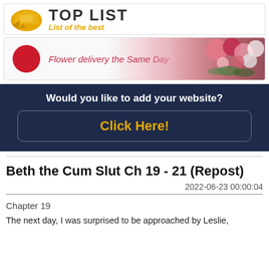[Figure (logo): Top List logo with yellow arrow/speech bubble icon, bold 'TOP LIST' text, yellow italic subtitle 'List of the best']
[Figure (photo): Flower delivery banner with red circle icon on left, italic text 'Flower delivery the Same Da[y]', pink and red flower arrangement on the right]
Would you like to add your website?
Click Here!
Beth the Cum Slut Ch 19 - 21 (Repost)
2022-06-23 00:00:04
Chapter 19
The next day, I was surprised to be approached by Leslie,